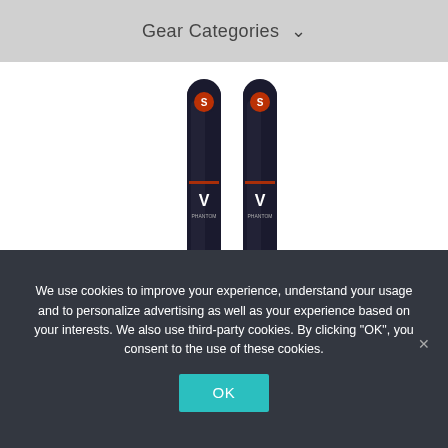Gear Categories ˅
[Figure (photo): Two black skis with orange brand logos and a chevron/V graphic in the center, standing upright side by side on a white background.]
We use cookies to improve your experience, understand your usage and to personalize advertising as well as your experience based on your interests. We also use third-party cookies. By clicking "OK", you consent to the use of these cookies.